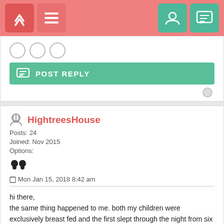Navigation bar with up/home and menu icons on left; user profile and message icons on right
[Figure (screenshot): POST REPLY button bar with green teal background and reply icon]
HightreesHouse
Posts: 24
Joined: Nov 2015
Options:
Mon Jan 15, 2018 8:42 am
hi there,
the same thing happened to me. both my children were exclusively breast fed and the first slept through the night from six months old. Other friend who had given formula and breast feeding seemed to get